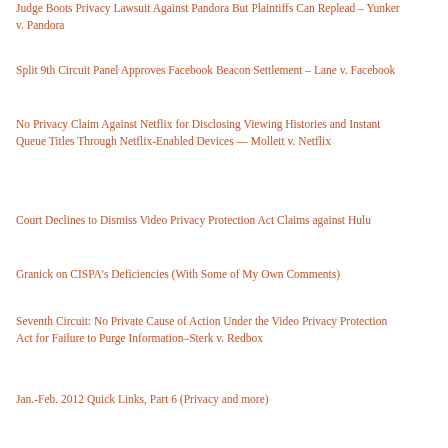Judge Boots Privacy Lawsuit Against Pandora But Plaintiffs Can Replead – Yunker v. Pandora
Split 9th Circuit Panel Approves Facebook Beacon Settlement – Lane v. Facebook
No Privacy Claim Against Netflix for Disclosing Viewing Histories and Instant Queue Titles Through Netflix-Enabled Devices — Mollett v. Netflix
Court Declines to Dismiss Video Privacy Protection Act Claims against Hulu
Granick on CISPA's Deficiencies (With Some of My Own Comments)
Seventh Circuit: No Private Cause of Action Under the Video Privacy Protection Act for Failure to Purge Information–Sterk v. Redbox
Jan.-Feb. 2012 Quick Links, Part 6 (Privacy and more)